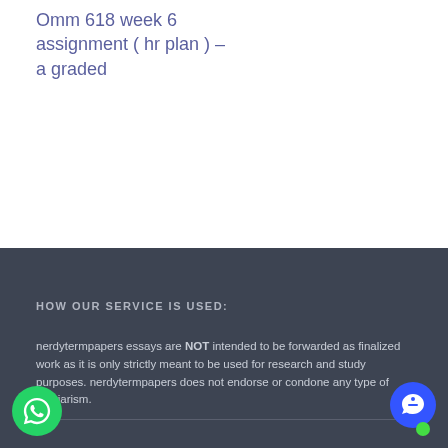Omm 618 week 6 assignment ( hr plan ) – a graded
HOW OUR SERVICE IS USED:
nerdytermpapers essays are NOT intended to be forwarded as finalized work as it is only strictly meant to be used for research and study purposes. nerdytermpapers does not endorse or condone any type of plagiarism.